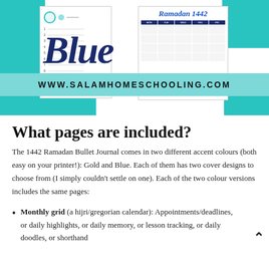[Figure (illustration): Banner image for '1442 Ramadan Bullet Journal - Blue' product. Shows teal/turquoise accent blocks, a large dark navy italic 'Blue' script text, white card mockups of journal pages, a calendar page with 'Ramadan 1442' in blue cursive, and a teal URL bar reading WWW.SALAMHOMESCHOOLING.COM.]
What pages are included?
The 1442 Ramadan Bullet Journal comes in two different accent colours (both easy on your printer!): Gold and Blue. Each of them has two cover designs to choose from (I simply couldn't settle on one). Each of the two colour versions includes the same pages:
Monthly grid (a hijri/gregorian calendar): Appointments/deadlines, or daily highlights, or daily memory, or lesson tracking, or daily doodles, or shorthand